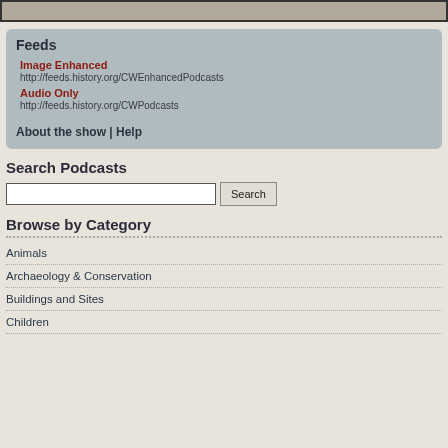[Figure (photo): Image strip at top of page, partially visible photo]
Feeds
Image Enhanced
http://feeds.history.org/CWEnhancedPodcasts
Audio Only
http://feeds.history.org/CWPodcasts
About the show | Help
Search Podcasts
Browse by Category
Animals
Archaeology & Conservation
Buildings and Sites
Children